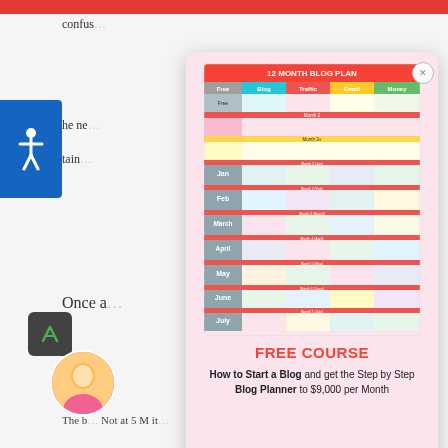confus…
he ne…
tain…
Once a…
[Figure (screenshot): 12 Month Blog Plan table with columns: Blog, Traffic, Email, Money; rows for each month Jan through Dec with colored cells showing blog planning details]
FREE COURSE
How to Start a Blog and get the Step by Step Blog Planner to $9,000 per Month
The b… Not at 5 M it…